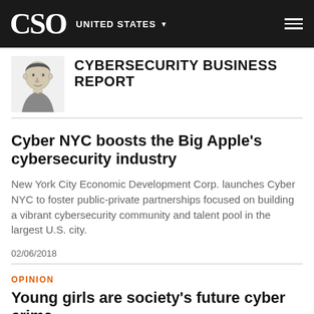CSO | UNITED STATES
CYBERSECURITY BUSINESS REPORT
Cyber NYC boosts the Big Apple's cybersecurity industry
New York City Economic Development Corp. launches Cyber NYC to foster public-private partnerships focused on building a vibrant cybersecurity community and talent pool in the largest U.S. city.
02/06/2018
OPINION
Young girls are society's future cyber crime